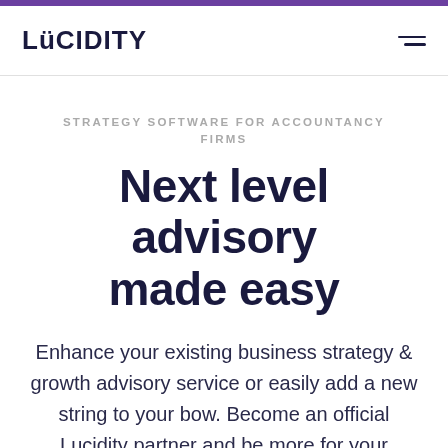LUCIDITY
STRATEGY SOFTWARE FOR ACCOUNTANCY FIRMS
Next level advisory made easy
Enhance your existing business strategy & growth advisory service or easily add a new string to your bow. Become an official Lucidity partner and be more for your